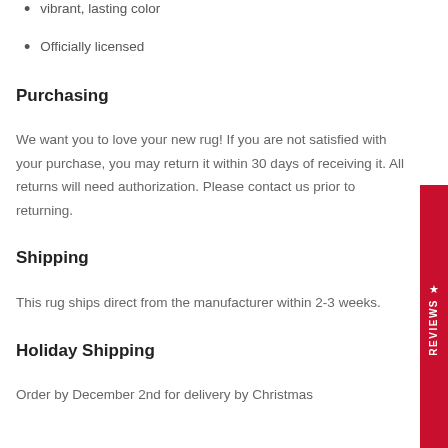vibrant, lasting color
Officially licensed
Purchasing
We want you to love your new rug! If you are not satisfied with your purchase, you may return it within 30 days of receiving it. All returns will need authorization. Please contact us prior to returning.
Shipping
This rug ships direct from the manufacturer within 2-3 weeks.
Holiday Shipping
Order by December 2nd for delivery by Christmas